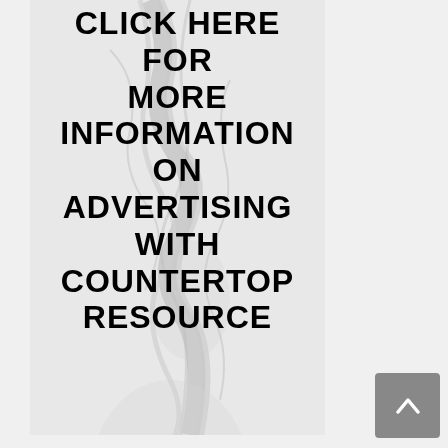[Figure (illustration): Advertisement banner with marble stone background texture. Large bold black text reads: CLICK HERE FOR MORE INFORMATION ON ADVERTISING WITH COUNTERTOP RESOURCE]
[Figure (other): Gray scroll-to-top button with white chevron/arrow pointing upward, positioned in bottom-right corner]